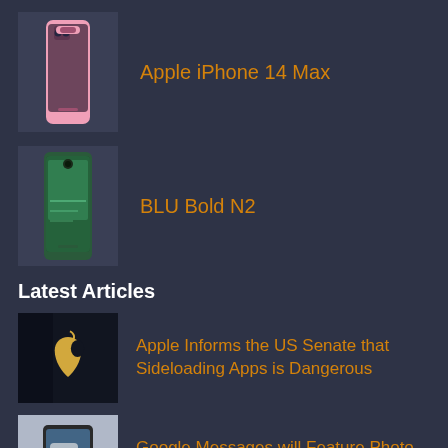[Figure (photo): Pink iPhone 14 Max smartphone product image]
Apple iPhone 14 Max
[Figure (photo): BLU Bold N2 smartphone product image with green tones]
BLU Bold N2
Latest Articles
[Figure (photo): Apple logo on dark background]
Apple Informs the US Senate that Sideloading Apps is Dangerous
[Figure (photo): Person holding a smartphone with Google Messages]
Google Messages will Feature Photo Sharing via Google Photos
[Figure (photo): People outdoors, related to Qualcomm vs Apple patent fight]
Qualcomm Vs Apple's Patent Fight Might be Resurrected
Legal